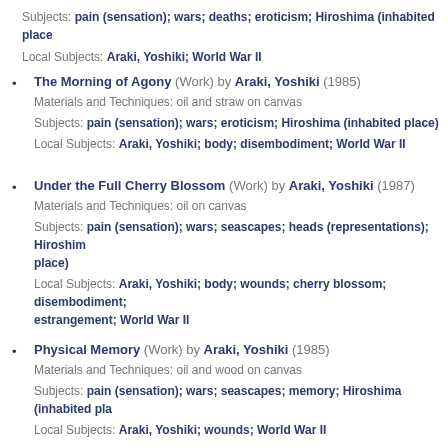Subjects: pain (sensation); wars; deaths; eroticism; Hiroshima (inhabited place)
Local Subjects: Araki, Yoshiki; World War II
The Morning of Agony (Work) by Araki, Yoshiki (1985)
Materials and Techniques: oil and straw on canvas
Subjects: pain (sensation); wars; eroticism; Hiroshima (inhabited place)
Local Subjects: Araki, Yoshiki; body; disembodiment; World War II
Under the Full Cherry Blossom (Work) by Araki, Yoshiki (1987)
Materials and Techniques: oil on canvas
Subjects: pain (sensation); wars; seascapes; heads (representations); Hiroshima (inhabited place)
Local Subjects: Araki, Yoshiki; body; wounds; cherry blossom; disembodiment; estrangement; World War II
Physical Memory (Work) by Araki, Yoshiki (1985)
Materials and Techniques: oil and wood on canvas
Subjects: pain (sensation); wars; seascapes; memory; Hiroshima (inhabited place)
Local Subjects: Araki, Yoshiki; wounds; World War II